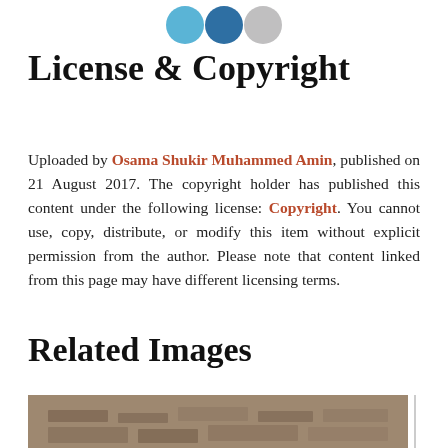[Figure (illustration): Three social media icon circles at top: light blue, dark blue, and gray]
License & Copyright
Uploaded by Osama Shukir Muhammed Amin, published on 21 August 2017. The copyright holder has published this content under the following license: Copyright. You cannot use, copy, distribute, or modify this item without explicit permission from the author. Please note that content linked from this page may have different licensing terms.
Related Images
[Figure (photo): Partial view of a stone carving or ancient relief image at the bottom of the page]